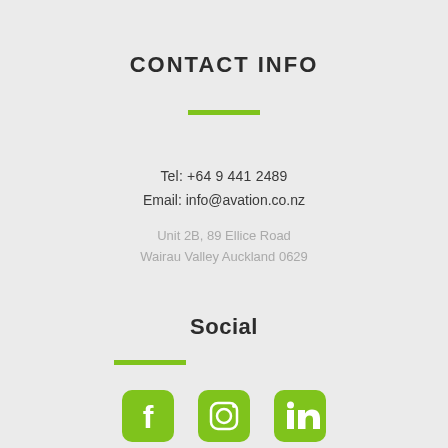CONTACT INFO
Tel: +64 9 441 2489
Email: info@avation.co.nz
Unit 2B, 89 Ellice Road
Wairau Valley Auckland 0629
Social
[Figure (illustration): Three social media icons: Facebook, Instagram, LinkedIn — all in green rounded square style]